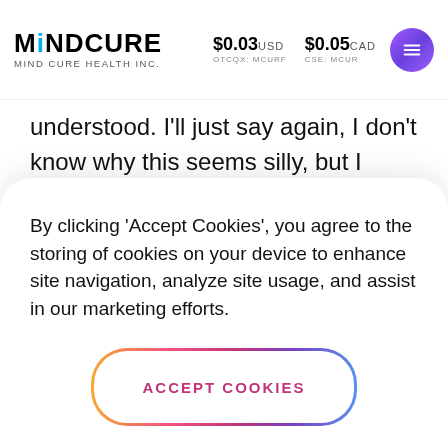MINDCURE MIND CURE HEALTH INC. $0.03 USD OTCQX: MCURF $0.05 CAD CSE: MCUR
understood. I'll just say again, I don't know why this seems silly, but I think I'm just hungry. But just going back to my hot sauce analogy, you know, it's like if your tongue is burning all the time, like you should really go see an ENT or like somebody and get that looked at,
By clicking 'Accept Cookies', you agree to the storing of cookies on your device to enhance site navigation, analyze site usage, and assist in our marketing efforts.
ACCEPT COOKIES